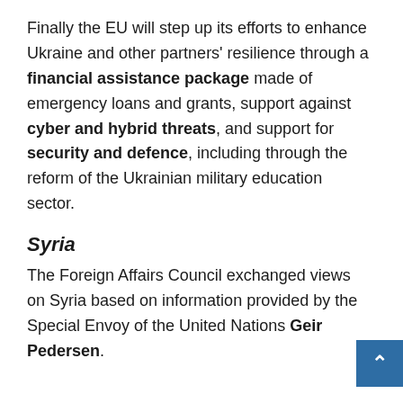Finally the EU will step up its efforts to enhance Ukraine and other partners' resilience through a financial assistance package made of emergency loans and grants, support against cyber and hybrid threats, and support for security and defence, including through the reform of the Ukrainian military education sector.
Syria
The Foreign Affairs Council exchanged views on Syria based on information provided by the Special Envoy of the United Nations Geir Pedersen.